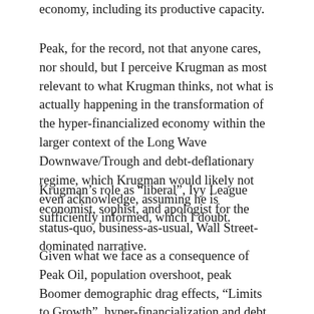economy, including its productive capacity.
Peak, for the record, not that anyone cares, nor should, but I perceive Krugman as most relevant to what Krugman thinks, not what is actually happening in the transformation of the hyper-financialized economy within the larger context of the Long Wave Downwave/Trough and debt-deflationary regime, which Krugman would likely not even acknowledge, assuming he is sufficiently informed, which I doubt.
Krugman’s role as “liberal”, Ivy League economist, sophist, and apologist for the status-quo, business-as-usual, Wall Street-dominated narrative.
Given what we face as a consequence of Peak Oil, population overshoot, peak Boomer demographic drag effects, “Limits to Growth”, hyper-financialization and debt and overvalued assets to wages and GDP, accelerating automation of service labor and loss of purchasing power without